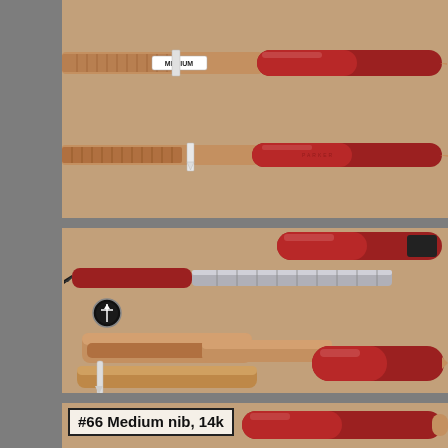[Figure (photo): Top photo: Two red and rose-gold fountain pens shown disassembled/side by side against a tan background. One pen has a white label reading 'MEDIUM' on the nib section. Both pens have red barrels and rose-gold metallic sections.]
[Figure (photo): Middle photo: A red and rose-gold fountain pen shown fully disassembled against a tan background. Components include red cap, black-tipped section with nib, silver cartridge/converter, rose-gold cap pieces, and red barrel with gold tip. A small Parker logo medallion is visible.]
[Figure (photo): Bottom partial photo: A red and rose-gold fountain pen partially visible at bottom of page against tan background.]
#66 Medium nib, 14k